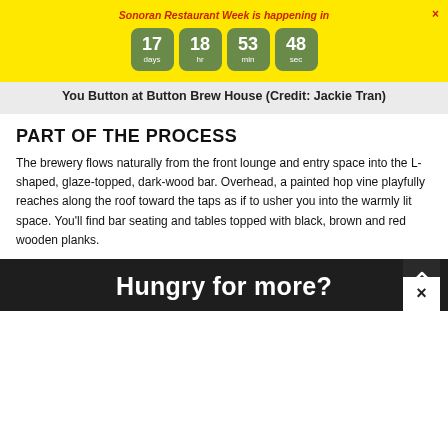Sonoran Restaurant Week is happening in
You Button at Button Brew House (Credit: Jackie Tran)
PART OF THE PROCESS
The brewery flows naturally from the front lounge and entry space into the L-shaped, glaze-topped, dark-wood bar. Overhead, a painted hop vine playfully reaches along the roof toward the taps as if to usher you into the warmly lit space. You'll find bar seating and tables topped with black, brown and red wooden planks.
Hungry for more?